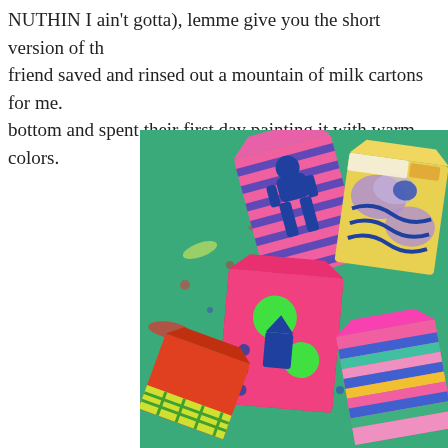NUTHIN I ain't gotta), lemme give you the short version of th... friend saved and rinsed out a mountain of milk cartons for me. bottom and spent their first day painting it with warm colors.
[Figure (photo): Several small milk cartons painted with colorful abstract designs in pink, blue, green, orange, and yellow, placed on a green painted surface with paint splatters.]